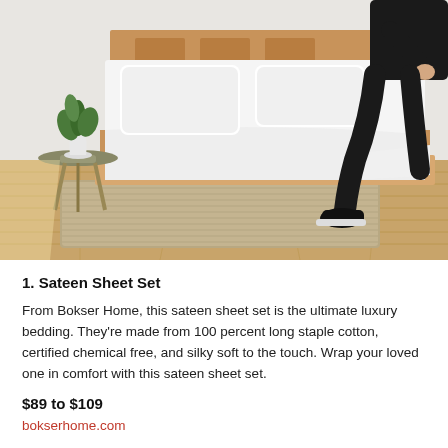[Figure (photo): A bedroom scene with a wooden bed frame dressed in white sateen sheets and pillows. A small round metal side table holds a white vase with a green plant. Hardwood floors with a woven area rug. A person in black clothing and black sneakers is perched on the edge of the bed in the top right.]
1. Sateen Sheet Set
From Bokser Home, this sateen sheet set is the ultimate luxury bedding. They're made from 100 percent long staple cotton, certified chemical free, and silky soft to the touch. Wrap your loved one in comfort with this sateen sheet set.
$89 to $109
bokserhome.com